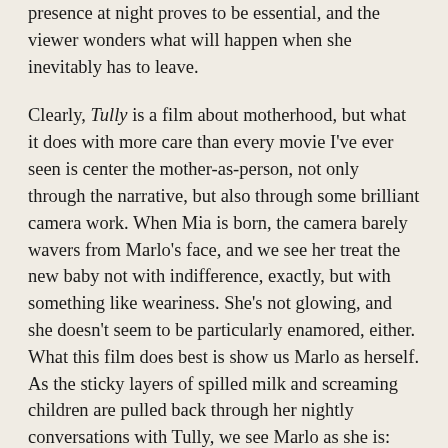presence at night proves to be essential, and the viewer wonders what will happen when she inevitably has to leave.
Clearly, Tully is a film about motherhood, but what it does with more care than every movie I've ever seen is center the mother-as-person, not only through the narrative, but also through some brilliant camera work. When Mia is born, the camera barely wavers from Marlo's face, and we see her treat the new baby not with indifference, exactly, but with something like weariness. She's not glowing, and she doesn't seem to be particularly enamored, either. What this film does best is show us Marlo as herself. As the sticky layers of spilled milk and screaming children are pulled back through her nightly conversations with Tully, we see Marlo as she is: someone who chose a life of familial stability over the turmoil of other possibilities. We learn that this is the life she wanted; yet, like many of us, she struggles with its monotony and her own high expectations.
While this film's greatest success is a portrayal of motherhood that transcends honesty, a disappointing third act left me (and other moviegoers) wishing for a different conclusion to the story. Any negativity aside, this film is worth seeing for a brilliant